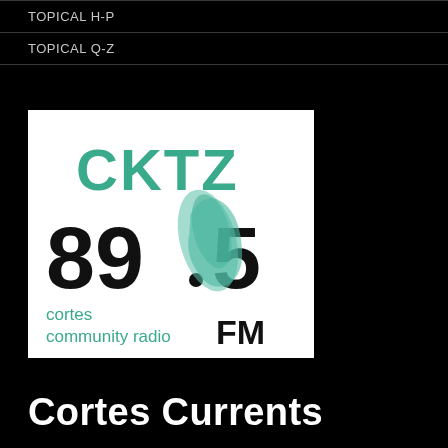TOPICAL H-P
TOPICAL Q-Z
[Figure (logo): CKTZ 89.5 FM Cortes Community Radio logo — teal/green lettering CKTZ above the numbers 89.5 with a teal map silhouette, FM in black bold, and 'cortes community radio' in teal script, on white background]
Cortes Currents